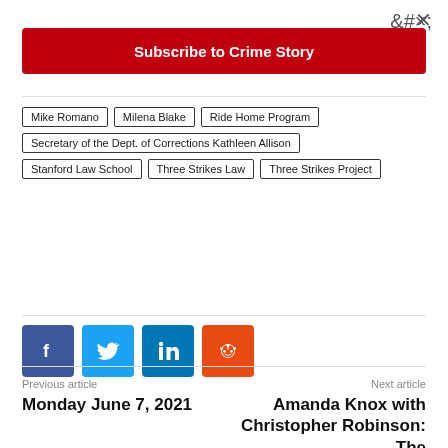×
Subscribe to Crime Story
Mike Romano
Milena Blake
Ride Home Program
Secretary of the Dept. of Corrections Kathleen Allison
Stanford Law School
Three Strikes Law
Three Strikes Project
[Figure (other): Social sharing icons: Facebook, Twitter, LinkedIn, Reddit]
Previous article
Monday June 7, 2021
Next article
Amanda Knox with Christopher Robinson: The Crime Story Collection